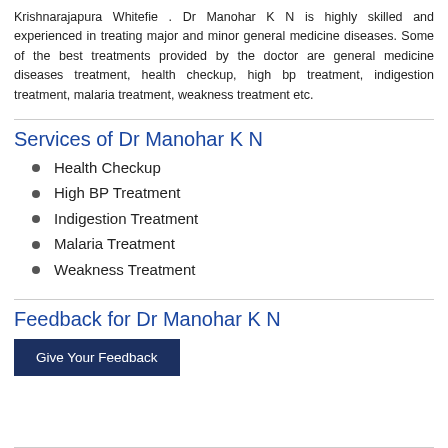Krishnarajapura Whitefie . Dr Manohar K N is highly skilled and experienced in treating major and minor general medicine diseases. Some of the best treatments provided by the doctor are general medicine diseases treatment, health checkup, high bp treatment, indigestion treatment, malaria treatment, weakness treatment etc.
Services of Dr Manohar K N
Health Checkup
High BP Treatment
Indigestion Treatment
Malaria Treatment
Weakness Treatment
Feedback for Dr Manohar K N
Give Your Feedback